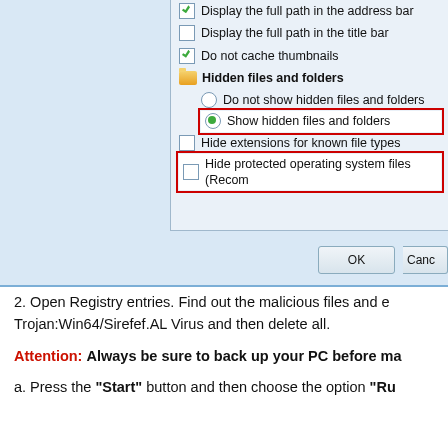[Figure (screenshot): Windows Folder Options dialog showing a list of checkboxes and radio buttons. Checked items include 'Display the full path in the address bar' and 'Do not cache thumbnails'. A folder icon appears before 'Hidden files and folders'. Radio options show 'Do not show hidden files and folders' (unselected) and 'Show hidden files and folders' (selected, highlighted with red box). Also shown: 'Hide extensions for known file types' (unchecked) and 'Hide protected operating system files (Recom...' (unchecked, highlighted with red box). OK and Cancel buttons at bottom.]
2. Open Registry entries. Find out the malicious files and entries of Trojan:Win64/Sirefef.AL Virus and then delete all.
Attention: Always be sure to back up your PC before ma
a. Press the "Start" button and then choose the option "Ru